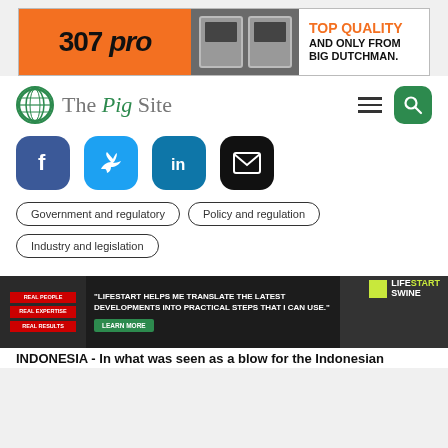[Figure (photo): 307 pro advertisement banner for Big Dutchman equipment with orange and white background]
[Figure (logo): The Pig Site logo with green globe icon and navigation hamburger menu and search button]
[Figure (infographic): Social media share buttons: Facebook, Twitter, LinkedIn, Email]
Government and regulatory
Policy and regulation
Industry and legislation
P... [article title partially visible]
[Figure (photo): LifeStart Swine advertisement banner with quote about translating developments into practical steps]
INDONESIA - In what was seen as a blow for the Indonesian